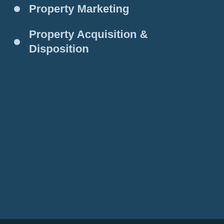Property Marketing
Property Acquisition & Disposition